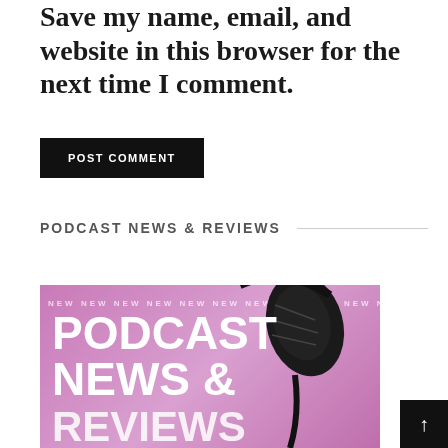Save my name, email, and website in this browser for the next time I comment.
POST COMMENT
PODCAST NEWS & REVIEWS
[Figure (illustration): Pink podcast promotional image with large white bold text reading PODCAST NEWS & REVIEWS, with a microphone in the background and a repeating NEW banner at the top.]